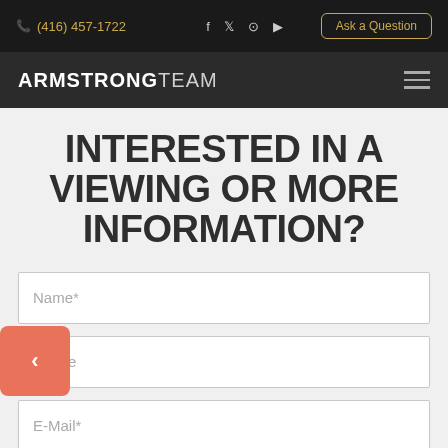(416) 457-1722  |  f  𝕏  ⊙  ▶  |  Ask a Question  |  ARMSTRONGTEAM
INTERESTED IN A VIEWING OR MORE INFORMATION?
Name*
Phone
E-Mail*